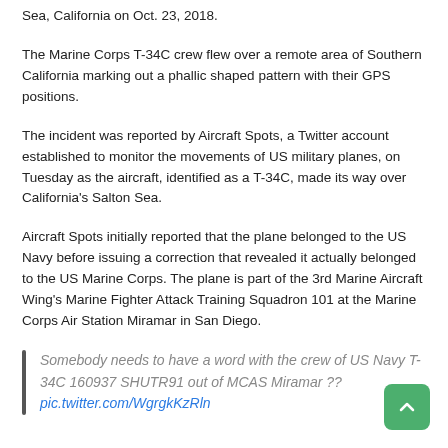Sea, California on Oct. 23, 2018.
The Marine Corps T-34C crew flew over a remote area of Southern California marking out a phallic shaped pattern with their GPS positions.
The incident was reported by Aircraft Spots, a Twitter account established to monitor the movements of US military planes, on Tuesday as the aircraft, identified as a T-34C, made its way over California's Salton Sea.
Aircraft Spots initially reported that the plane belonged to the US Navy before issuing a correction that revealed it actually belonged to the US Marine Corps. The plane is part of the 3rd Marine Aircraft Wing's Marine Fighter Attack Training Squadron 101 at the Marine Corps Air Station Miramar in San Diego.
Somebody needs to have a word with the crew of US Navy T-34C 160937 SHUTR91 out of MCAS Miramar ?? pic.twitter.com/WgrgkKzRln